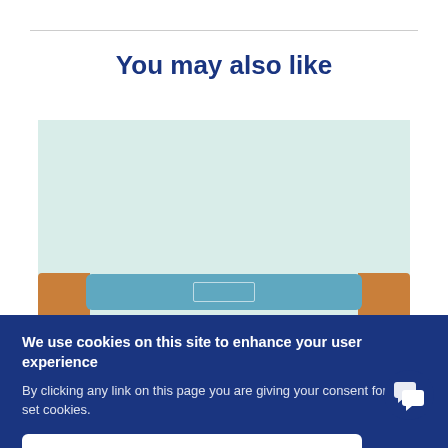You may also like
[Figure (photo): Product photo showing a light teal/mint colored roll or tube supported by two wooden spool ends, against a light aqua background]
We use cookies on this site to enhance your user experience
By clicking any link on this page you are giving your consent for us to set cookies.
OK, I AGREE